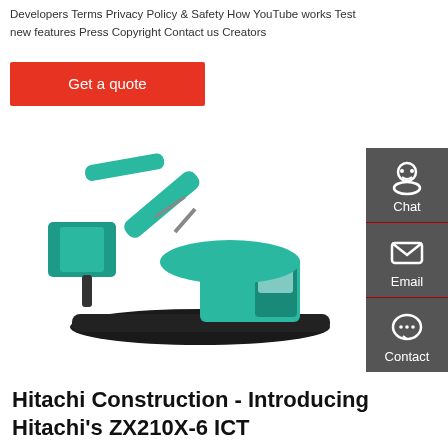Developers Terms Privacy Policy & Safety How YouTube works Test new features Press Copyright Contact us Creators
Get a quote
[Figure (photo): SUNWARD brand excavator/construction machine in teal/green color with hydraulic breaker attachment, on a white background]
Hitachi Construction - Introducing Hitachi's ZX210X-6 ICT